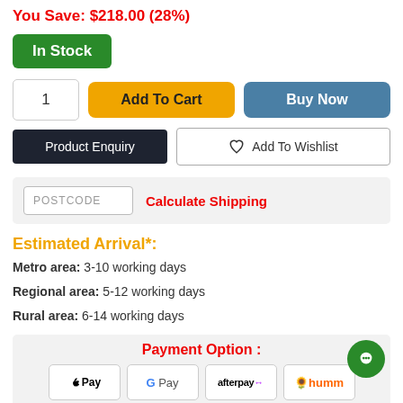You Save: $218.00 (28%)
In Stock
1  Add To Cart  Buy Now
Product Enquiry  ♡ Add To Wishlist
POSTCODE  Calculate Shipping
Estimated Arrival*:
Metro area: 3-10 working days
Regional area: 5-12 working days
Rural area: 6-14 working days
Payment Option :
[Figure (other): Payment logos: Apple Pay, G Pay, afterpay, humm]